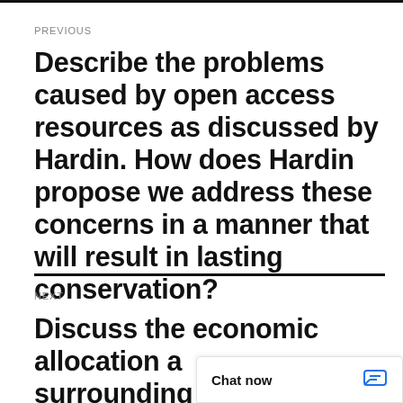PREVIOUS
Describe the problems caused by open access resources as discussed by Hardin. How does Hardin propose we address these concerns in a manner that will result in lasting conservation?
NEXT
Discuss the economic allocation a… surrounding…